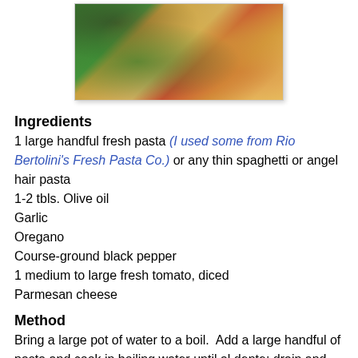[Figure (photo): A plate with green beans, pasta with tomatoes, and what appears to be a meat dish on a white plate with blue border.]
Ingredients
1 large handful fresh pasta (I used some from Rio Bertolini's Fresh Pasta Co.) or any thin spaghetti or angel hair pasta
1-2 tbls. Olive oil
Garlic
Oregano
Course-ground black pepper
1 medium to large fresh tomato, diced
Parmesan cheese
Method
Bring a large pot of water to a boil.  Add a large handful of pasta and cook in boiling water until al dente; drain and add diced tomatoes, drizzle on some extra-virgin olive oil and